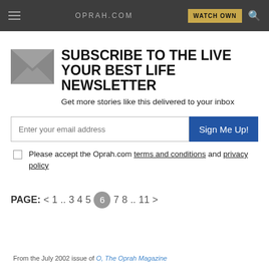OPRAH.COM  WATCH OWN
SUBSCRIBE TO THE LIVE YOUR BEST LIFE NEWSLETTER
Get more stories like this delivered to your inbox
Please accept the Oprah.com terms and conditions and privacy policy
PAGE: < 1 ... 3 4 5 6 7 8 ... 11 >
From the July 2002 issue of O, The Oprah Magazine